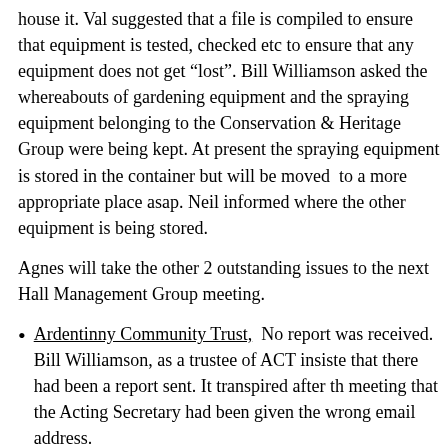house it. Val suggested that a file is compiled to ensure that equipment is tested, checked etc to ensure that any equipment does not get “lost”. Bill Williamson asked the whereabouts of gardening equipment and the spraying equipment belonging to the Conservation & Heritage Group were being kept. At present the spraying equipment is stored in the container but will be moved to a more appropriate place asap. Neil informed where the other equipment is being stored.
Agnes will take the other 2 outstanding issues to the next Hall Management Group meeting.
Ardentinny Community Trust, No report was received. Bill Williamson, as a trustee of ACT insisted that there had been a report sent. It transpired after the meeting that the Acting Secretary had been given the wrong email address.